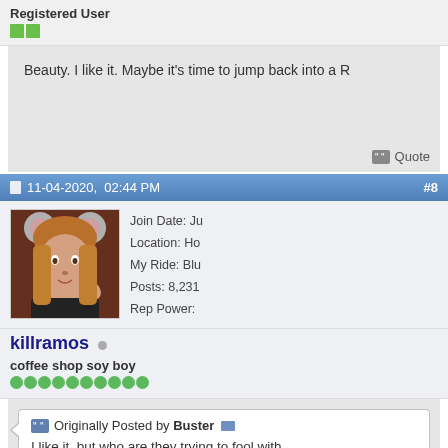Registered User
Beauty. I like it. Maybe it's time to jump back into a R
Quote
11-04-2020,  02:44 PM
#8
Join Date: Ju
Location: Ho
My Ride: Blu
Posts: 8,231
Rep Power:
killramos
coffee shop soy boy
Originally Posted by Buster
I like it, but who are they trying to fool with